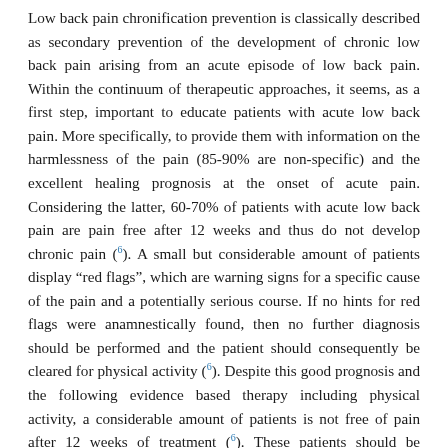Low back pain chronification prevention is classically described as secondary prevention of the development of chronic low back pain arising from an acute episode of low back pain. Within the continuum of therapeutic approaches, it seems, as a first step, important to educate patients with acute low back pain. More specifically, to provide them with information on the harmlessness of the pain (85-90% are non-specific) and the excellent healing prognosis at the onset of acute pain. Considering the latter, 60-70% of patients with acute low back pain are pain free after 12 weeks and thus do not develop chronic pain (6). A small but considerable amount of patients display “red flags”, which are warning signs for a specific cause of the pain and a potentially serious course. If no hints for red flags were anamnestically found, then no further diagnosis should be performed and the patient should consequently be cleared for physical activity (6). Despite this good prognosis and the following evidence based therapy including physical activity, a considerable amount of patients is not free of pain after 12 weeks of treatment (6). These patients should be screened for “yellow